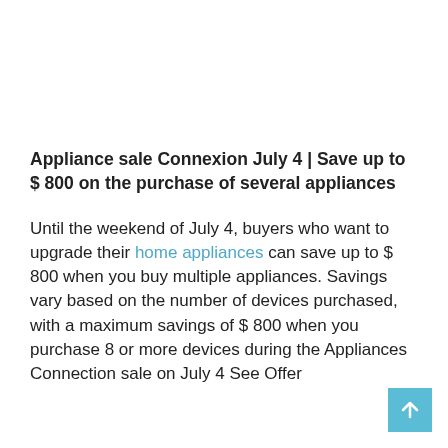Appliance sale Connexion July 4 | Save up to $ 800 on the purchase of several appliances
Until the weekend of July 4, buyers who want to upgrade their home appliances can save up to $ 800 when you buy multiple appliances. Savings vary based on the number of devices purchased, with a maximum savings of $ 800 when you purchase 8 or more devices during the Appliances Connection sale on July 4 See Offer